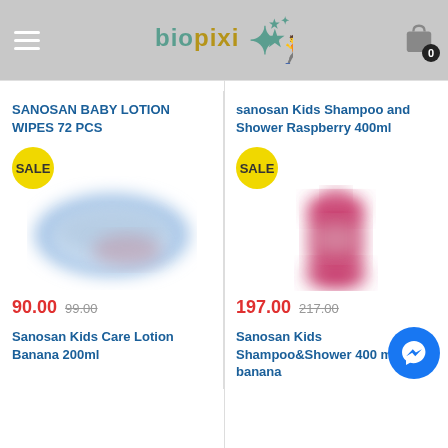[Figure (logo): biopixi logo with running figure and stars, hamburger menu icon, and shopping cart with badge 0]
SANOSAN BABY LOTION WIPES 72 PCS
[Figure (photo): Blurred blue/white baby wipes package with SALE badge]
90.00  99.00
sanosan Kids Shampoo and Shower Raspberry 400ml
[Figure (photo): Blurred pink/red shampoo bottle with SALE badge]
197.00  217.00
Sanosan Kids Care Lotion Banana 200ml
Sanosan Kids Shampoo&Shower 400 ml banana